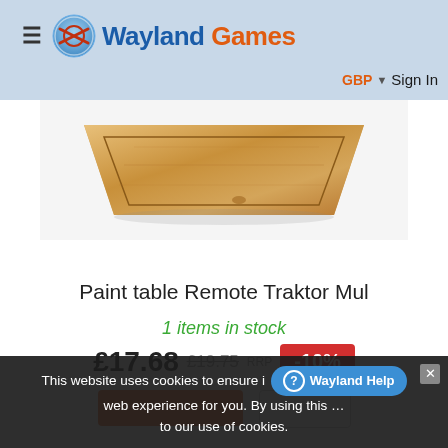Wayland Games — GBP Sign In
[Figure (photo): Product photo of a wooden paint table (Remote Traktor Mul) showing a flat wooden board with decorative edges on a white background]
Paint table Remote Traktor Mul
1 items in stock
£17.68 £19.75 RRP -10%
This website uses cookies to ensure i… web experience for you. By using this … to our use of cookies.